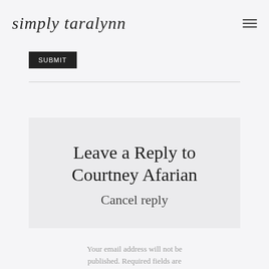simply taralynn
[Figure (other): Black rectangular button with white text (partially obscured)]
Leave a Reply to Courtney Afarian Cancel reply
Your email address will not be published. Required fields are